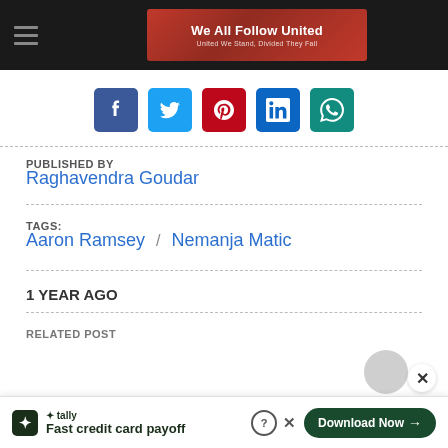We All Follow United — United We Stand, Divided They Fall
[Figure (infographic): Social media share buttons: Facebook, Twitter, Pinterest, LinkedIn, WhatsApp]
PUBLISHED BY
Raghavendra Goudar
TAGS:
Aaron Ramsey / Nemanja Matic
1 YEAR AGO
RELATED POST
[Figure (infographic): Advertisement banner: Tally — Fast credit card payoff — Download Now button]